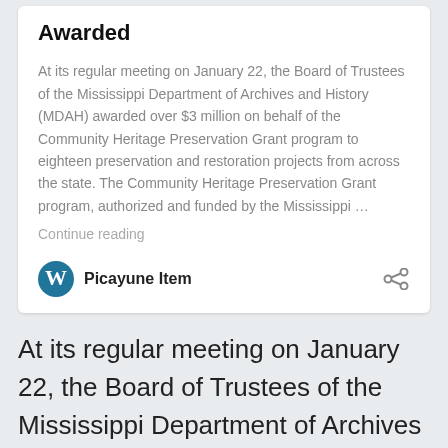Awarded
At its regular meeting on January 22, the Board of Trustees of the Mississippi Department of Archives and History (MDAH) awarded over $3 million on behalf of the Community Heritage Preservation Grant program to eighteen preservation and restoration projects from across the state. The Community Heritage Preservation Grant program, authorized and funded by the Mississippi …
Continue reading
Picayune Item
At its regular meeting on January 22, the Board of Trustees of the Mississippi Department of Archives and History (MDAH) awarded over $3 million on behalf of the Community Heritage Preservation Grant program to eighteen